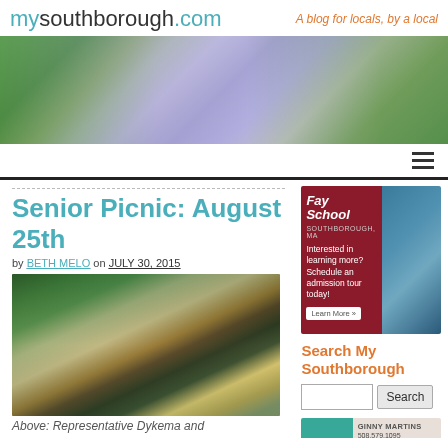mysouthborough.com — A blog for locals, by a local
[Figure (photo): Hero banner photo of blue hydrangea flowers with green leaves in the background]
[Figure (other): Navigation bar with hamburger menu icon]
Senior Picnic: August 25th
by BETH MELO on JULY 30, 2015
[Figure (photo): Outdoor picnic scene with people serving food at a buffet table in a park setting]
Above: Representative Dykema and
[Figure (advertisement): Fay School Southborough MA advertisement — Interested in learning more? Schedule an admission tour today! Learn More »]
Search My Southborough
[Figure (other): Ginny Martins advertisement with photo, phone 508.579.1095]
[Figure (other): Search input box and Search button]